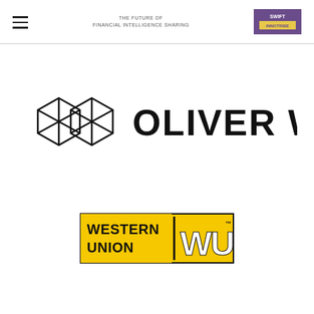THE FUTURE OF FINANCIAL INTELLIGENCE SHARING
[Figure (logo): Oliver Wyman logo — geometric hexagonal icon followed by 'OLIVER WYMAN' text in large bold black capitals]
[Figure (logo): Western Union WU logo — black bordered yellow rectangle with 'WESTERN UNION' text on left and 'WU' letters in white with vertical bar divider]